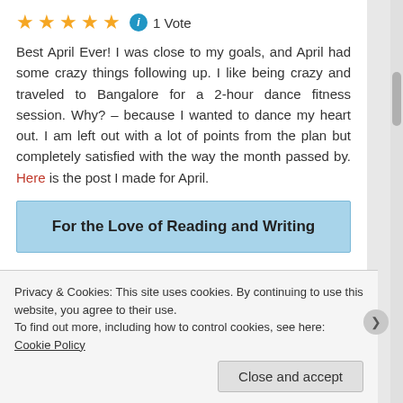★★★★★ ℹ 1 Vote
Best April Ever! I was close to my goals, and April had some crazy things following up. I like being crazy and traveled to Bangalore for a 2-hour dance fitness session. Why? – because I wanted to dance my heart out. I am left out with a lot of points from the plan but completely satisfied with the way the month passed by. Here is the post I made for April.
For the Love of Reading and Writing
4.1 Read and complete 4 novels as a part of Goodreads challenge – did not complete any
Privacy & Cookies: This site uses cookies. By continuing to use this website, you agree to their use.
To find out more, including how to control cookies, see here: Cookie Policy
Close and accept